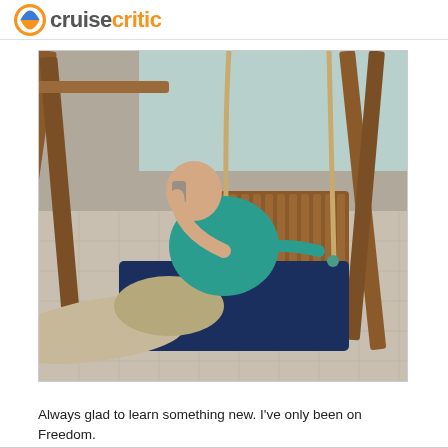cruisecritic
[Figure (photo): A man in a teal t-shirt and khaki shorts lying/reclining on a wooden swing bench with a navy blue cushion, surrounded by wooden A-frame swing structures with rope suspensions, on a tiled outdoor deck area. Other people are visible in the background.]
Always glad to learn something new. I've only been on Freedom.